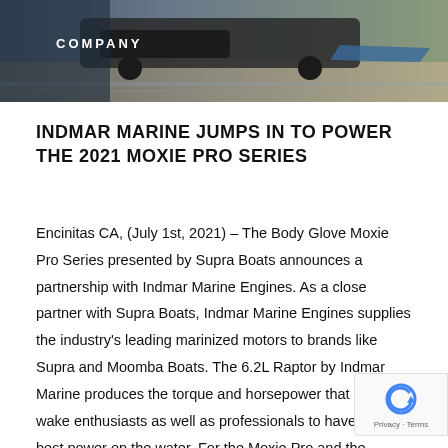[Figure (photo): Header photo showing a dark truck towing a boat near water, with a gray/blue vehicle in the background. Dark overlay on left side with 'COMPANY' label in white text.]
INDMAR MARINE JUMPS IN TO POWER THE 2021 MOXIE PRO SERIES
Encinitas CA, (July 1st, 2021) – The Body Glove Moxie Pro Series presented by Supra Boats announces a partnership with Indmar Marine Engines. As a close partner with Supra Boats, Indmar Marine Engines supplies the industry's leading marinized motors to brands like Supra and Moomba Boats. The 6.2L Raptor by Indmar Marine produces the torque and horsepower that allows wake enthusiasts as well as professionals to have the best power on the water. For the Moxie Pro and the incredible athletes in this